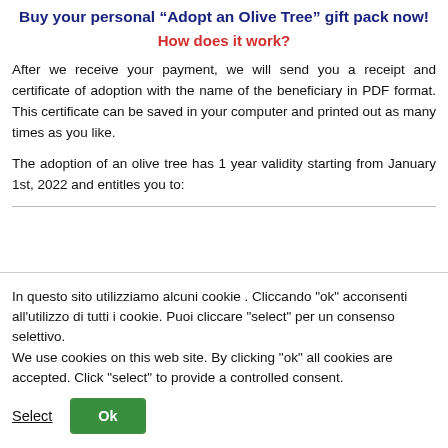Buy your personal “Adopt an Olive Tree” gift pack now!
How does it work?
After we receive your payment, we will send you a receipt and certificate of adoption with the name of the beneficiary in PDF format. This certificate can be saved in your computer and printed out as many times as you like.
The adoption of an olive tree has 1 year validity starting from January 1st, 2022 and entitles you to:
In questo sito utilizziamo alcuni cookie . Cliccando "ok" acconsenti all'utilizzo di tutti i cookie. Puoi cliccare "select" per un consenso selettivo.
We use cookies on this web site. By clicking "ok" all cookies are accepted. Click "select" to provide a controlled consent.
Select   Ok